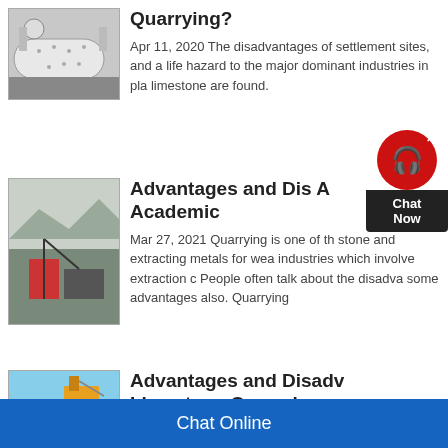[Figure (photo): Industrial ball mill machine, white cylindrical vessel with bolts]
What Are Some Pros of Quarrying?
Apr 11, 2020 The disadvantages of settlement sites, and a life hazard to the major dominant industries in pla limestone are found.
[Figure (photo): Quarry excavation with machinery and rock face]
Advantages and Dis A Academic
Mar 27, 2021 Quarrying is one of th stone and extracting metals for wea industries which involve extraction c People often talk about the disadva some advantages also. Quarrying
[Figure (photo): Excavator at limestone quarry with blue sky]
Advantages and Disadv Limestone Quarrying
Chat Online